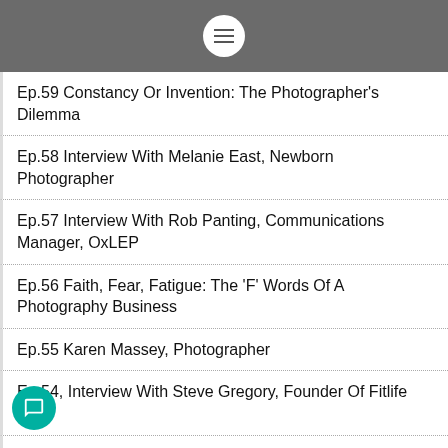Menu
Ep.59 Constancy Or Invention: The Photographer's Dilemma
Ep.58 Interview With Melanie East, Newborn Photographer
Ep.57 Interview With Rob Panting, Communications Manager, OxLEP
Ep.56 Faith, Fear, Fatigue: The 'F' Words Of A Photography Business
Ep.55 Karen Massey, Photographer
Ep.54, Interview With Steve Gregory, Founder Of Fitlife Gym
Ep.53 Chris Cooze from Hasselblad
Ep.52 Tom Stogdon, Sculptor
Ep.51 Thinking About Clients
Ep.50 Terry Hope, Editor Professional Photo Magazine
Ep.49 On The Way Home From The Gym…